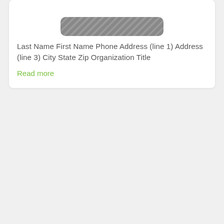[Figure (other): Rounded rectangle button placeholder with diagonal hatching pattern on grey background]
Last Name First Name Phone Address (line 1) Address (line 3) City State Zip Organization Title
Read more